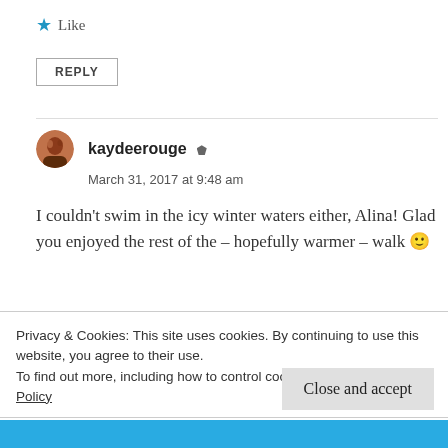★ Like
REPLY
kaydeerouge
March 31, 2017 at 9:48 am
I couldn't swim in the icy winter waters either, Alina! Glad you enjoyed the rest of the – hopefully warmer – walk 🙂
Privacy & Cookies: This site uses cookies. By continuing to use this website, you agree to their use.
To find out more, including how to control cookies, see here: Cookie Policy
Close and accept